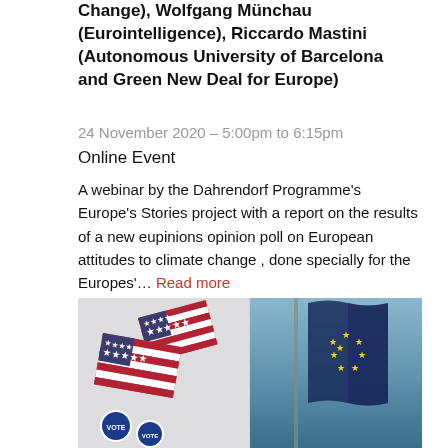Change), Wolfgang Münchau (Eurointelligence), Riccardo Mastini (Autonomous University of Barcelona and Green New Deal for Europe)
24 November 2020 – 5:00pm to 6:15pm
Online Event
A webinar by the Dahrendorf Programme's Europe's Stories project with a report on the results of a new eupinions opinion poll on European attitudes to climate change , done specially for the Europes'... Read more
[Figure (photo): Split image: left half shows US flags and Vote buttons on a light grey background; right half shows a dark EU flag waving against a grey-blue sky]